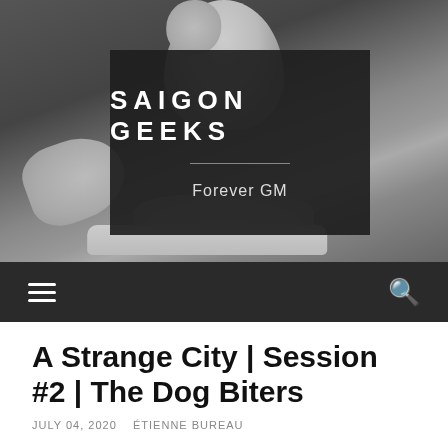[Figure (photo): Website header image showing a grey miniature figurine (appears to be a person) against a dark grey background, with a dark overlay box containing the site logo]
SAIGON GEEKS
Forever GM
[Figure (infographic): Navigation bar with hamburger menu icon on the left and search icon on the right, dark background]
A Strange City | Session #2 | The Dog Biters
JULY 04, 2020   ÉTIENNE BUREAU